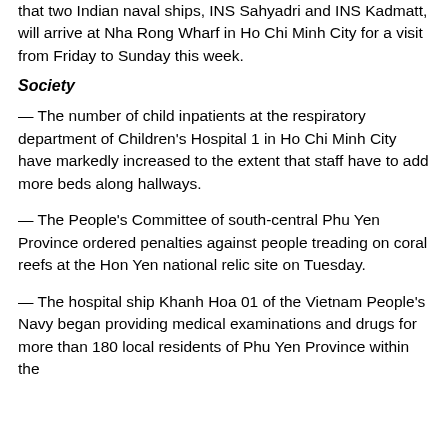that two Indian naval ships, INS Sahyadri and INS Kadmatt, will arrive at Nha Rong Wharf in Ho Chi Minh City for a visit from Friday to Sunday this week.
Society
— The number of child inpatients at the respiratory department of Children's Hospital 1 in Ho Chi Minh City have markedly increased to the extent that staff have to add more beds along hallways.
— The People's Committee of south-central Phu Yen Province ordered penalties against people treading on coral reefs at the Hon Yen national relic site on Tuesday.
— The hospital ship Khanh Hoa 01 of the Vietnam People's Navy began providing medical examinations and drugs for more than 180 local residents of Phu Yen Province within the